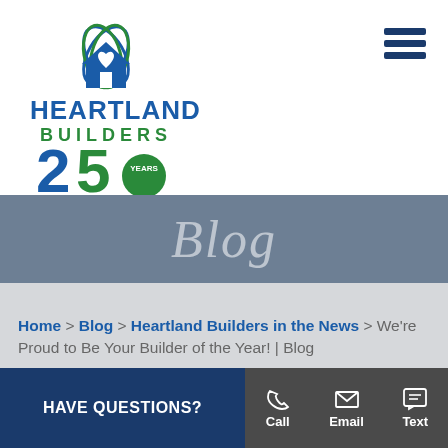[Figure (logo): Heartland Builders logo with house icon and '25 YEARS' badge. 'HEARTLAND' in blue, 'BUILDERS' in green, with a blue and green house/heart graphic above.]
Blog
Home > Blog > Heartland Builders in the News > We're Proud to Be Your Builder of the Year! | Blog
HAVE QUESTIONS?  Call  Email  Text